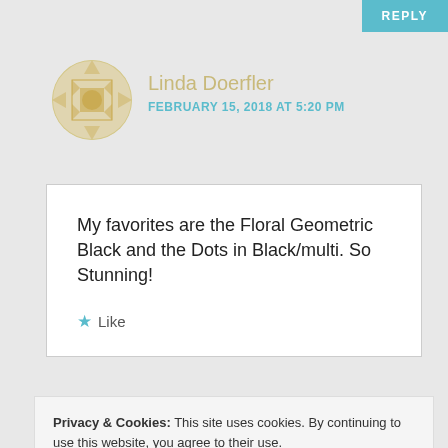REPLY
Linda Doerfler
FEBRUARY 15, 2018 AT 5:20 PM
My favorites are the Floral Geometric Black and the Dots in Black/multi. So Stunning!
★ Like
REPLY
Privacy & Cookies: This site uses cookies. By continuing to use this website, you agree to their use.
To find out more, including how to control cookies, see here: Cookie Policy
Close and accept
Floral geometric black is my fave. Love the